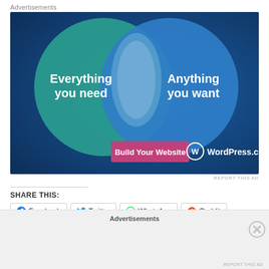Advertisements
[Figure (illustration): WordPress.com advertisement banner showing two overlapping circles (Venn diagram style) on a dark teal/blue background. Left circle is teal with text 'Everything you need', right circle is blue with text 'Anything you want'. A pink/magenta button reads 'Build Your Website'. WordPress.com logo shown bottom right.]
REPORT THIS AD
SHARE THIS:
Facebook | Twitter | WhatsApp | Reddit
Advertisements